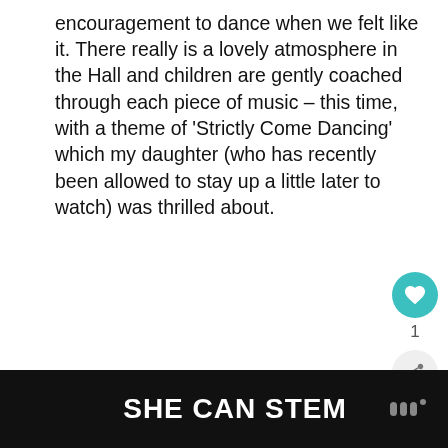encouragement to dance when we felt like it. There really is a lovely atmosphere in the Hall and children are gently coached through each piece of music – this time, with a theme of 'Strictly Come Dancing' which my daughter (who has recently been allowed to stay up a little later to watch) was thrilled about.
[Figure (screenshot): Like button (teal circle with heart icon), count of 1, and share button below]
[Figure (screenshot): What's Next panel with avatar thumbnail and text 'City of Birmingham...']
SHE CAN STEM